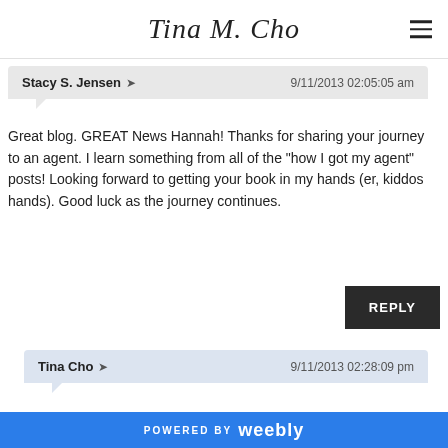Tina M. Cho
Stacy S. Jensen → 9/11/2013 02:05:05 am
Great blog. GREAT News Hannah! Thanks for sharing your journey to an agent. I learn something from all of the "how I got my agent" posts! Looking forward to getting your book in my hands (er, kiddos hands). Good luck as the journey continues.
REPLY
Tina Cho → 9/11/2013 02:28:09 pm
Thanks, Stacy, for visiting. I, too, love reading how everyone obtained their agents.
POWERED BY weebly